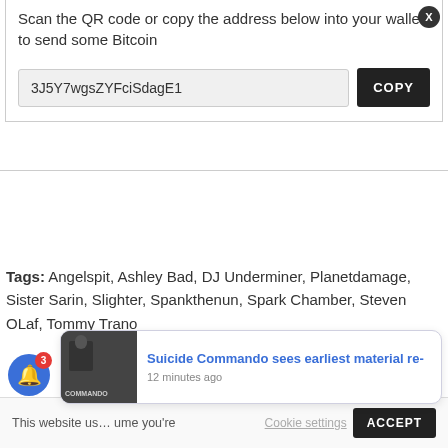Scan the QR code or copy the address below into your wallet to send some Bitcoin
3J5Y7wgsZYFciSdagE1
Tags: Angelspit, Ashley Bad, DJ Underminer, Planetdamage, Sister Sarin, Slighter, Spankthenun, Spark Chamber, Steven OLaf, Tommy Trano
This website u... me you're...
Suicide Commando sees earliest material re-
12 minutes ago